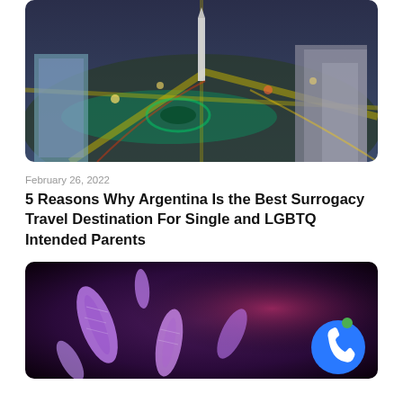[Figure (photo): Aerial city view of Buenos Aires at night showing the Obelisk and surrounding streets with light trails]
February 26, 2022
5 Reasons Why Argentina Is the Best Surrogacy Travel Destination For Single and LGBTQ Intended Parents
[Figure (photo): Close-up microscope image of purple/pink chromosome or bacteria structures on a dark background, with a blue phone button overlay in the bottom right]